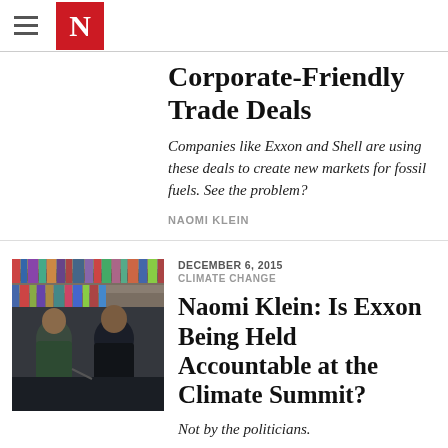The Nation
Corporate-Friendly Trade Deals
Companies like Exxon and Shell are using these deals to create new markets for fossil fuels. See the problem?
NAOMI KLEIN
DECEMBER 6, 2015
CLIMATE CHANGE
[Figure (photo): Two women in conversation, seated, with bookshelves in the background]
Naomi Klein: Is Exxon Being Held Accountable at the Climate Summit?
Not by the politicians.
NAOMI KLEIN